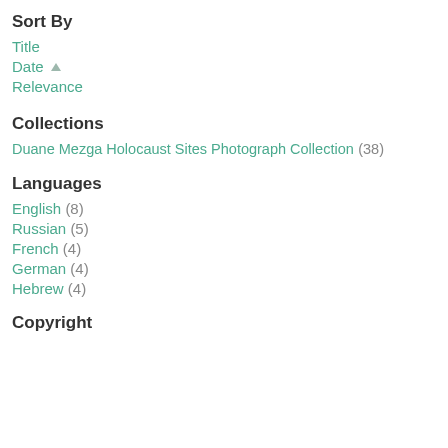Sort By
Title
Date ▲
Relevance
Collections
Duane Mezga Holocaust Sites Photograph Collection (38)
Languages
English (8)
Russian (5)
French (4)
German (4)
Hebrew (4)
Copyright